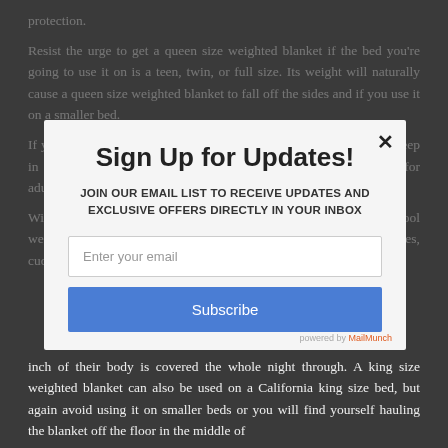protection.

Resist the urge to get a queen size weighted blanket if the bed you're going to use it on is a teen, twin, or full size. Its weight will naturally cause a queen size weighted blanket to fall off the sides and if you use it on a smaller bed.

If you'd like to enjoy the rejuvenating effects of a peaceful night's sleep in a really big way, you could use a king size weighted blanket for adults.

With its generous dimensions of 90 x 90 inches, king sized cool weighted blankets could be a good option for king size mattresses, cuddling couples and restless sleepers who want to make sure every
Sign Up for Updates!
JOIN OUR EMAIL LIST TO RECEIVE UPDATES AND EXCLUSIVE OFFERS DIRECTLY IN YOUR INBOX
Enter your email
Subscribe
powered by MailMunch
inch of their body is covered the whole night through. A king size weighted blanket can also be used on a California king size bed, but again avoid using it on smaller beds or you will find yourself hauling the blanket off the floor in the middle of